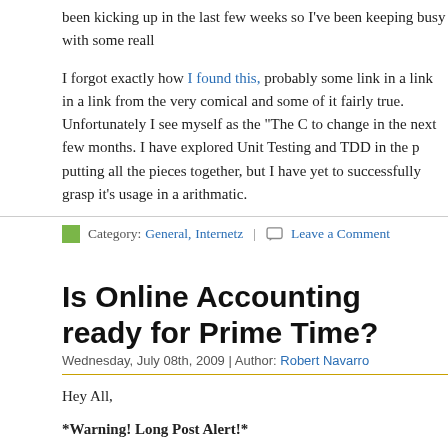been kicking up in the last few weeks so I've been keeping busy with some reall
I forgot exactly how I found this, probably some link in a link in a link from the very comical and some of it fairly true. Unfortunately I see myself as the "The C to change in the next few months. I have explored Unit Testing and TDD in the p putting all the pieces together, but I have yet to successfully grasp it's usage in a arithmatic.
Category: General, Internetz | Leave a Comment
Is Online Accounting ready for Prime Time?
Wednesday, July 08th, 2009 | Author: Robert Navarro
Hey All,
*Warning! Long Post Alert!*
Today's blurb will be a comparison (or review I suppose) of some online accour and trying. To get things started, I'll post all the software I've tried thus far (in no
Less Accounting
Outright
Clarity Accounting
IAC-EZ